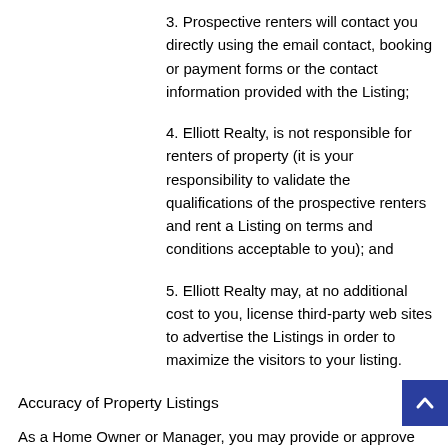3. Prospective renters will contact you directly using the email contact, booking or payment forms or the contact information provided with the Listing;
4. Elliott Realty, is not responsible for renters of property (it is your responsibility to validate the qualifications of the prospective renters and rent a Listing on terms and conditions acceptable to you); and
5. Elliott Realty may, at no additional cost to you, license third-party web sites to advertise the Listings in order to maximize the visitors to your listing.
Accuracy of Property Listings
As a Home Owner or Manager, you may provide or approve Listings. You represent and warrant that all information contained in Listings will be true and accurate in all material respects and will not omit anything that may be material to the decision of a user interested in a transaction. I understand that renters will rely upon your Listings and any misstatements or omissions about the Listing may result in liability and